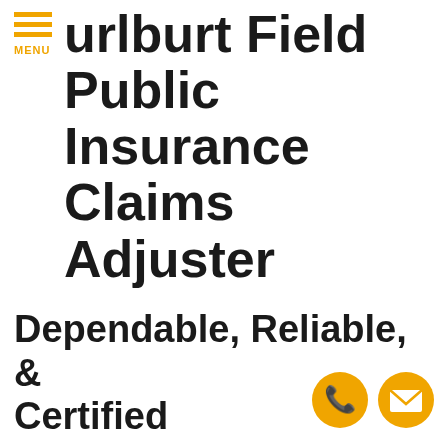MENU
Hurlburt Field Public Insurance Claims Adjuster
Dependable, Reliable, & Certified